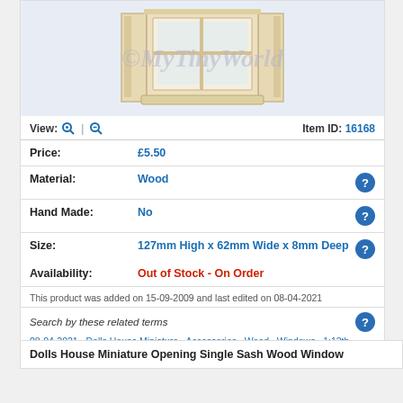[Figure (photo): Wooden dolls house window product photo with watermark ©MyTinyWorld]
View: [search icons] | Item ID: 16168
Price: £5.50
Material: Wood
Hand Made: No
Size: 127mm High x 62mm Wide x 8mm Deep
Availability: Out of Stock - On Order
This product was added on 15-09-2009 and last edited on 08-04-2021
Search by these related terms
08-04-2021 , Dolls House Miniature , Accessories , Wood , Windows , 1:12th Scale
Dolls House Miniature Opening Single Sash Wood Window